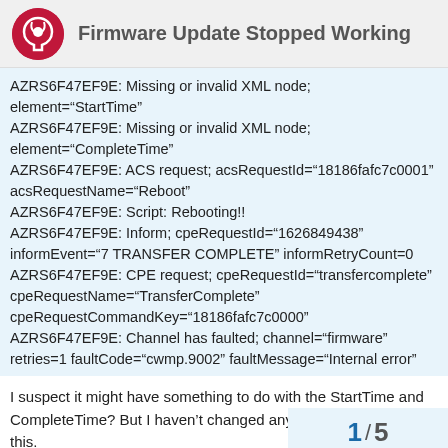Firmware Update Stopped Working
AZRS6F47EF9E: Missing or invalid XML node; element="StartTime"
AZRS6F47EF9E: Missing or invalid XML node; element="CompleteTime"
AZRS6F47EF9E: ACS request; acsRequestId="18186fafc7c0001" acsRequestName="Reboot"
AZRS6F47EF9E: Script: Rebooting!!
AZRS6F47EF9E: Inform; cpeRequestId="1626849438" informEvent="7 TRANSFER COMPLETE" informRetryCount=0
AZRS6F47EF9E: CPE request; cpeRequestId="transfercomplete" cpeRequestName="TransferComplete" cpeRequestCommandKey="18186fafc7c0000"
AZRS6F47EF9E: Channel has faulted; channel="firmware" retries=1 faultCode="cwmp.9002" faultMessage="Internal error"
I suspect it might have something to do with the StartTime and CompleteTime? But I haven't changed any though would break this.
1 / 5